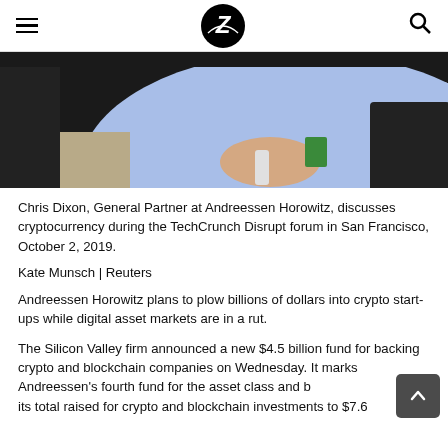Z (logo)
[Figure (photo): Chris Dixon, General Partner at Andreessen Horowitz, photographed during the TechCrunch Disrupt forum in San Francisco, October 2, 2019. Person in blue shirt seated, holding a microphone.]
Chris Dixon, General Partner at Andreessen Horowitz, discusses cryptocurrency during the TechCrunch Disrupt forum in San Francisco, October 2, 2019.
Kate Munsch | Reuters
Andreessen Horowitz plans to plow billions of dollars into crypto start-ups while digital asset markets are in a rut.
The Silicon Valley firm announced a new $4.5 billion fund for backing crypto and blockchain companies on Wednesday. It marks Andreessen's fourth fund for the asset class and brings its total raised for crypto and blockchain investments to $7.6